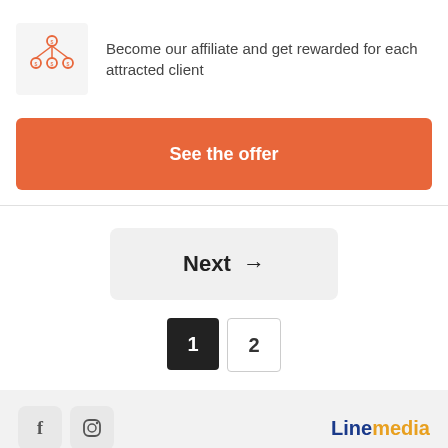[Figure (illustration): Affiliate network icon: person nodes connected with dollar signs in orange outline style]
Become our affiliate and get rewarded for each attracted client
See the offer
Next →
1
2
[Figure (logo): Linemedia logo with 'Line' in dark blue and 'media' in orange]
[Figure (illustration): Facebook and Instagram social media icons]